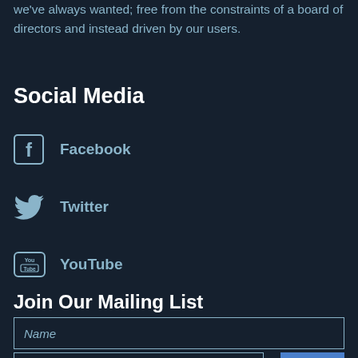we've always wanted; free from the constraints of a board of directors and instead driven by our users.
Social Media
Facebook
Twitter
YouTube
Join Our Mailing List